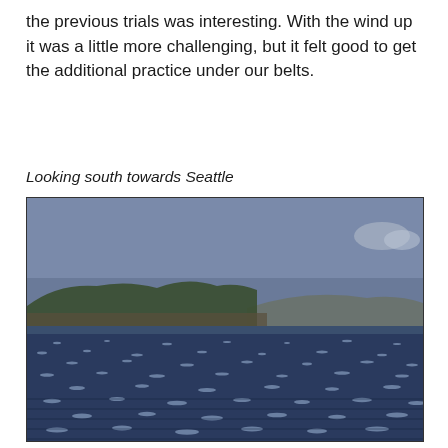the previous trials was interesting. With the wind up it was a little more challenging, but it felt good to get the additional practice under our belts.
Looking south towards Seattle
[Figure (photo): Photograph looking south towards Seattle, showing a choppy blue water surface in the foreground with sunlight glinting off the waves, a treeline and forested hillside on the left middle ground, distant hills on the right, and an overcast grey-blue sky above.]